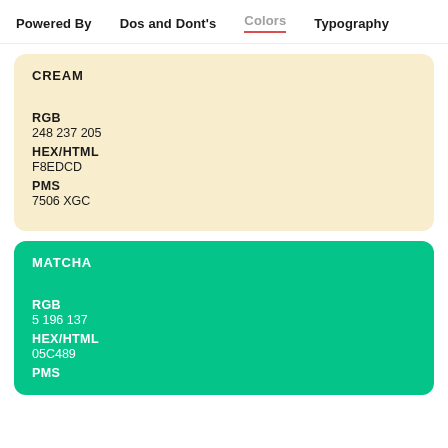Powered By   Dos and Dont's   Colors   Typography
CREAM
RGB
248 237 205
HEX/HTML
F8EDCD
PMS
7506 XGC
MATCHA
RGB
5 196 137
HEX/HTML
05C489
PMS